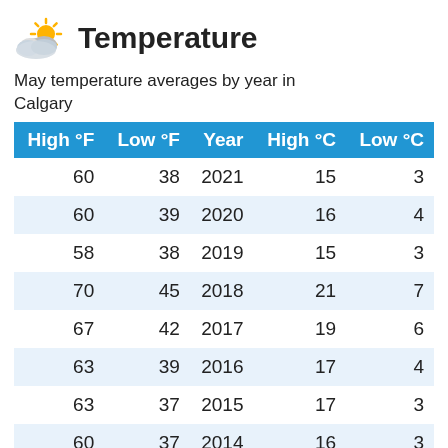Temperature
May temperature averages by year in Calgary
| High °F | Low °F | Year | High °C | Low °C |
| --- | --- | --- | --- | --- |
| 60 | 38 | 2021 | 15 | 3 |
| 60 | 39 | 2020 | 16 | 4 |
| 58 | 38 | 2019 | 15 | 3 |
| 70 | 45 | 2018 | 21 | 7 |
| 67 | 42 | 2017 | 19 | 6 |
| 63 | 39 | 2016 | 17 | 4 |
| 63 | 37 | 2015 | 17 | 3 |
| 60 | 37 | 2014 | 16 | 3 |
| 66 | 41 | 2013 | 19 | 5 |
| 60 | 38 | 2012 | 16 | 3 |
| 59 | 39 | 2011 | 15 | 4 |